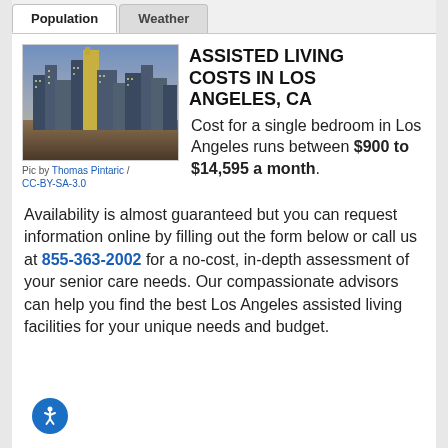Population | Weather
[Figure (photo): Aerial/skyline view of Los Angeles city buildings at dusk/twilight]
Pic by Thomas Pintaric / CC-BY-SA-3.0
ASSISTED LIVING COSTS IN LOS ANGELES, CA
Cost for a single bedroom in Los Angeles runs between $900 to $14,595 a month.
Availability is almost guaranteed but you can request information online by filling out the form below or call us at 855-363-2002 for a no-cost, in-depth assessment of your senior care needs. Our compassionate advisors can help you find the best Los Angeles assisted living facilities for your unique needs and budget.